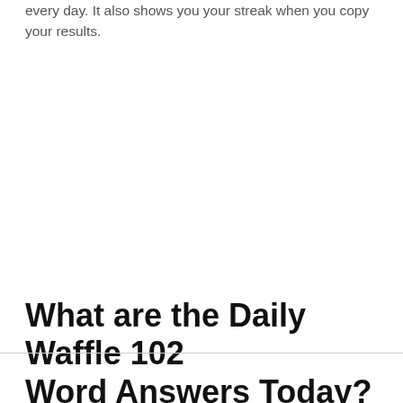every day. It also shows you your streak when you copy your results.
What are the Daily Waffle 102 Word Answers Today? (May 3rd, 2022)